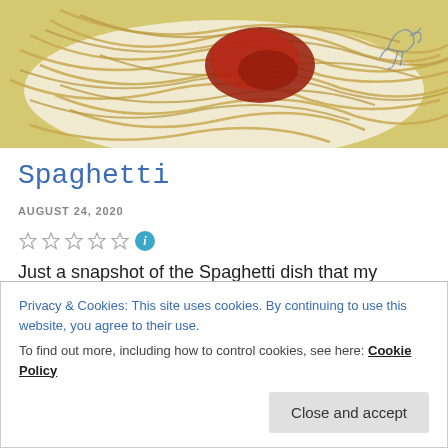[Figure (photo): Close-up photo of a plate of spaghetti with tomato sauce, on a decorative plate with a blue design visible on the rim]
Spaghetti
AUGUST 24, 2020
☆☆☆☆☆ (i) (rating stars with info icon)
Just a snapshot of the Spaghetti dish that my mother prepared for us when I visited her one evening. It's a very simple meal but I always liked Spaghetti. But who
Privacy & Cookies: This site uses cookies. By continuing to use this website, you agree to their use.
To find out more, including how to control cookies, see here: Cookie Policy
Close and accept